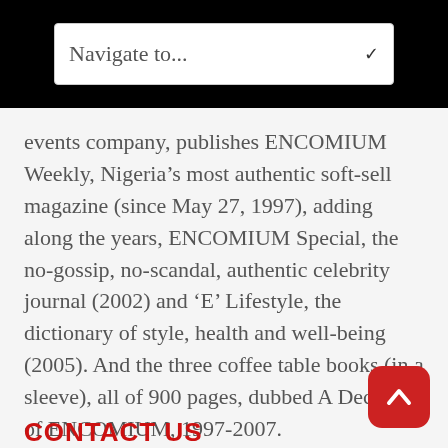Navigate to...
events company, publishes ENCOMIUM Weekly, Nigeria’s most authentic soft-sell magazine (since May 27, 1997), adding along the years, ENCOMIUM Special, the no-gossip, no-scandal, authentic celebrity journal (2002) and ‘E’ Lifestyle, the dictionary of style, health and well-being (2005). And the three coffee table books (in a sleeve), all of 900 pages, dubbed A Decade of ENCOMIUM, 1997-2007.
CONTACT US